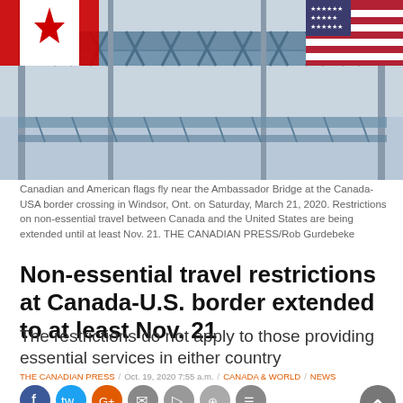[Figure (photo): Canadian and American flags fly near the Ambassador Bridge with a steel truss bridge structure visible in the background against a grey sky.]
Canadian and American flags fly near the Ambassador Bridge at the Canada-USA border crossing in Windsor, Ont. on Saturday, March 21, 2020. Restrictions on non-essential travel between Canada and the United States are being extended until at least Nov. 21. THE CANADIAN PRESS/Rob Gurdebeke
Non-essential travel restrictions at Canada-U.S. border extended to at least Nov. 21
The restrictions do not apply to those providing essential services in either country
THE CANADIAN PRESS / Oct. 19, 2020 7:55 a.m. / CANADA & WORLD / NEWS